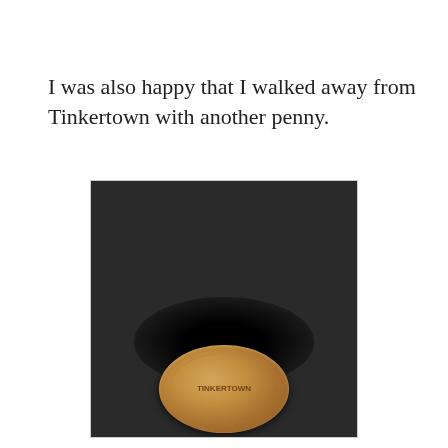I was also happy that I walked away from Tinkertown with another penny.
[Figure (photo): A close-up photograph of a pressed/elongated penny souvenir coin on a dark background. The copper-colored oval coin shows an embossed design, resting on a dark gray/black surface with a shadow beneath it.]